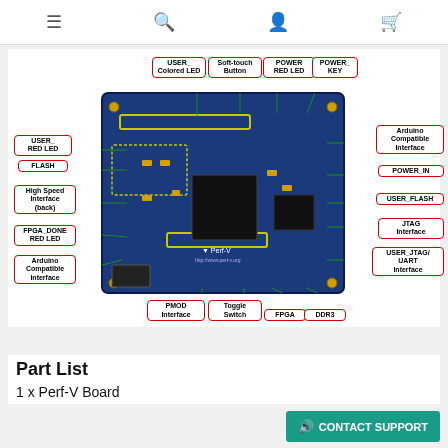Navigation bar with menu, search, user, and cart icons
[Figure (engineering-diagram): Perf-V FPGA development board with labeled components: USER_Colored LED, Soft-touch Button, POWER RED LED, POWER_KEY, Arduino Compatible Interface, POWER_IN, USER_FLASH, JTAG Interface, USER_JTAG/UART Interface, DDR3, FPGA, Toggle Switch, PMOD Interface, Arduino Compatible Interface (left), FPGA_DONE RED LED, High Speed Interface (back), FLASH, USER_ RED LED]
Part List
1 x Perf-V Board